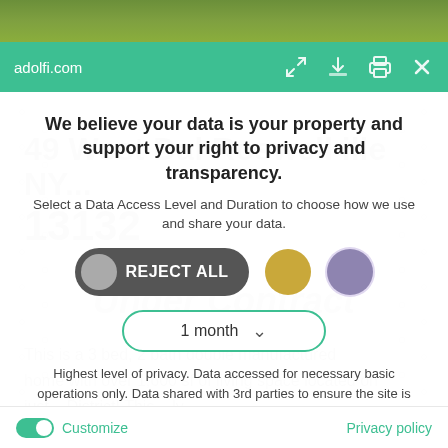[Figure (screenshot): Grass/lawn photo strip at top of page]
adolfi.com
We believe your data is your property and support your right to privacy and transparency.
Select a Data Access Level and Duration to choose how we use and share your data.
[Figure (infographic): Three privacy level selector buttons: REJECT ALL (dark grey toggle with grey circle), gold circle, purple circle]
[Figure (infographic): Dropdown selector showing '1 month' with teal border and chevron arrow]
Highest level of privacy. Data accessed for necessary basic operations only. Data shared with 3rd parties to ensure the site is secure and works on your device
Save my preferences
Customize
Privacy policy